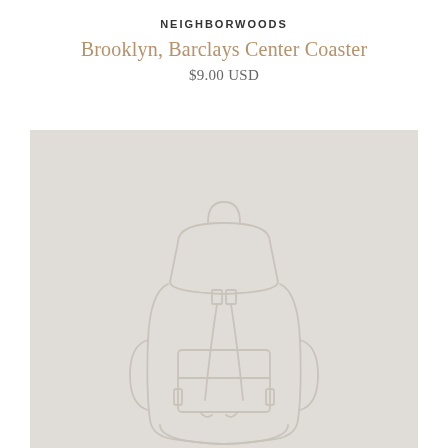NEIGHBORWOODS
Brooklyn, Barclays Center Coaster
$9.00 USD
[Figure (illustration): A light beige/gray square image background with a faint outline illustration of a backpack centered within it, drawn in a slightly darker tone than the background.]